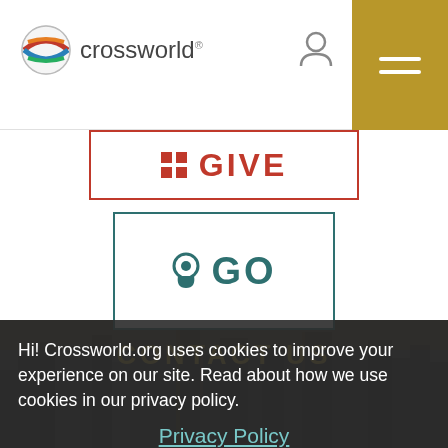[Figure (screenshot): Crossworld website screenshot showing navigation header with logo, user icon, and gold hamburger menu button; GIVE and GO call-to-action buttons; a cookie consent banner overlay over a city skyline background; and a partial footer text.]
Hi! Crossworld.org uses cookies to improve your experience on our site. Read about how we use cookies in our privacy policy.
Privacy Policy
ACCEPT
Crossworld USA | 10000 N Oak Trafficway | Kansas City